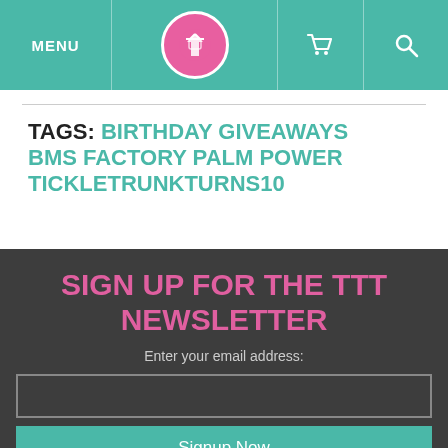MENU | [logo] | [cart] | [search]
TAGS: BIRTHDAY GIVEAWAYS BMS FACTORY PALM POWER TICKLETRUNKTURNS10
SIGN UP FOR THE TTT NEWSLETTER
Enter your email address: